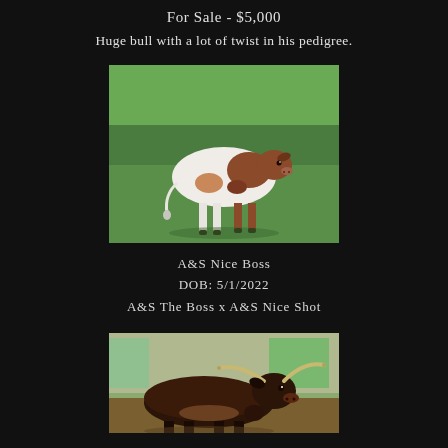For Sale - $5,000
Huge bull with a lot of twist in his pedigree.
[Figure (photo): Young Texas Longhorn calf with white and brown/roan coloring standing on green grass]
A&S Nice Boss
DOB: 5/1/2022
A&S The Boss x A&S Nice Shot
[Figure (photo): Adult dark brown Texas Longhorn bull standing in a pen or barn area]